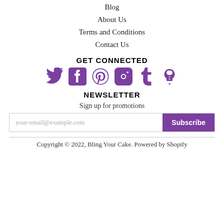Blog
About Us
Terms and Conditions
Contact Us
GET CONNECTED
[Figure (illustration): Six social media icons in purple: Twitter, Facebook, Pinterest, Instagram, Tumblr, and a popsicle/app icon]
NEWSLETTER
Sign up for promotions
your-email@example.com [input field] Subscribe [button]
Copyright © 2022, Bling Your Cake. Powered by Shopify